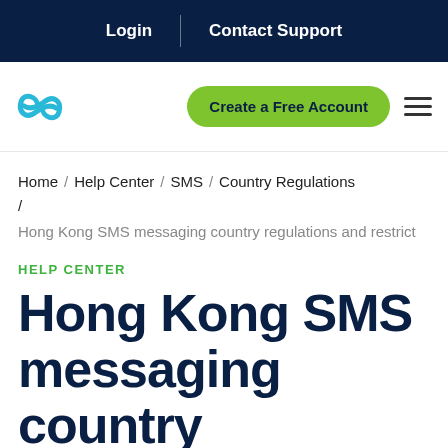Login | Contact Support
[Figure (logo): Infinity loop logo in cyan/teal color]
Create a Free Account
Home / Help Center / SMS / Country Regulations / Hong Kong SMS messaging country regulations and restrict
HELP CENTER
Hong Kong SMS messaging country